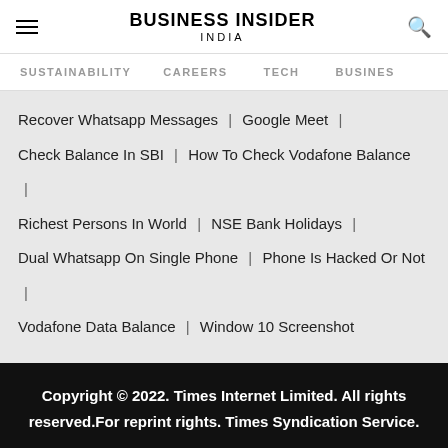BUSINESS INSIDER INDIA
SUSTAINABILITY | CAREERS | TECH | BUSINESS
Recover Whatsapp Messages | Google Meet |
Check Balance In SBI | How To Check Vodafone Balance |
Richest Persons In World | NSE Bank Holidays |
Dual Whatsapp On Single Phone | Phone Is Hacked Or Not |
Vodafone Data Balance | Window 10 Screenshot
Copyright © 2022. Times Internet Limited. All rights reserved.For reprint rights. Times Syndication Service.
[Figure (other): Advertisement banner for Equestic SaddleClip with 600+ reviews and Open button]